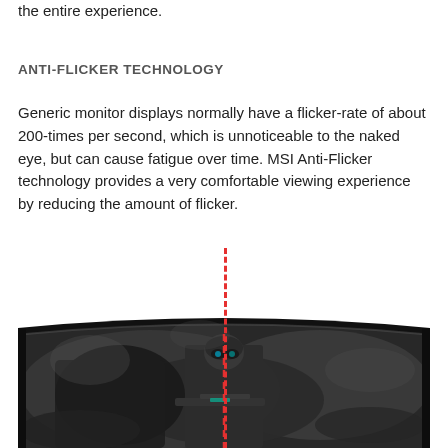the entire experience.
ANTI-FLICKER TECHNOLOGY
Generic monitor displays normally have a flicker-rate of about 200-times per second, which is unnoticeable to the naked eye, but can cause fatigue over time. MSI Anti-Flicker technology provides a very comfortable viewing experience by reducing the amount of flicker.
[Figure (photo): A curved gaming monitor displaying a dark military-themed game scene with a soldier holding a weapon, with a vertical red dashed line running through the center of the screen from above the monitor.]